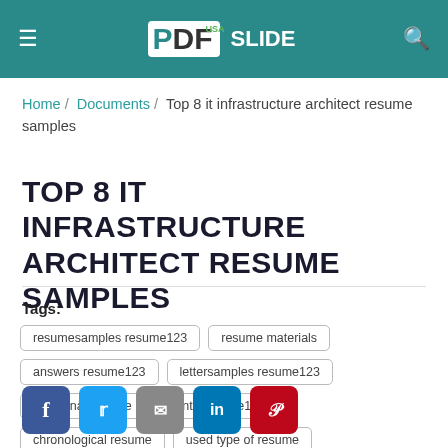PDFslide USA
Home / Documents / Top 8 it infrastructure architect resume samples
TOP 8 IT INFRASTRUCTURE ARCHITECT RESUME SAMPLES
Tags: resumesamples resume123 | resume materials | answers resume123 | lettersamples resume123 | functional resume | points resume123 | chronological resume | used type of resume